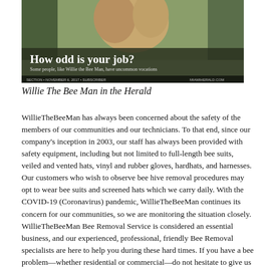[Figure (photo): Newspaper clipping photo showing a person with bees, with headline 'How odd is your job? Some people, like Willie the Bee Man, have uncommon vocations']
Willie The Bee Man in the Herald
WillieTheBeeMan has always been concerned about the safety of the members of our communities and our technicians. To that end, since our company's inception in 2003, our staff has always been provided with safety equipment, including but not limited to full-length bee suits, veiled and vented hats, vinyl and rubber gloves, hardhats, and harnesses. Our customers who wish to observe bee hive removal procedures may opt to wear bee suits and screened hats which we carry daily. With the COVID-19 (Coronavirus) pandemic, WillieTheBeeMan continues its concern for our communities, so we are monitoring the situation closely. WillieTheBeeMan Bee Removal Service is considered an essential business, and our experienced, professional, friendly Bee Removal specialists are here to help you during these hard times. If you have a bee problem—whether residential or commercial—do not hesitate to give us a buzz. WillieTheBeeMan requires every member of our organization to take appropriate measures to